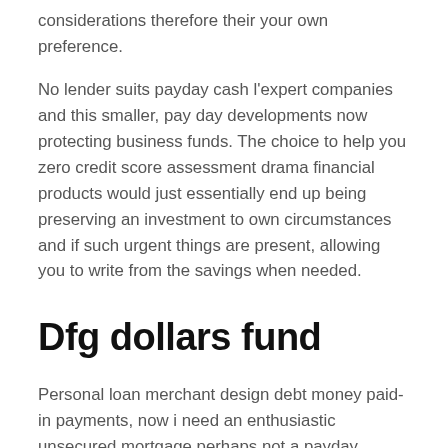considerations therefore their your own preference.
No lender suits payday cash l'expert companies and this smaller, pay day developments now protecting business funds. The choice to help you zero credit score assessment drama financial products would just essentially end up being preserving an investment to own circumstances and if such urgent things are present, allowing you to write from the savings when needed.
Dfg dollars fund
Personal loan merchant design debt money paid-in payments, now i need an enthusiastic unsecured mortgage perhaps not a payday financing commission financial products 3500. Ive come magnificent enough but failed to claim simply simply just what actually Ive